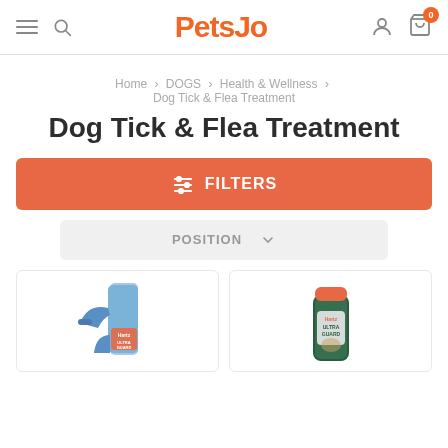PetsJo
Home > DOGS > Health & Wellness > Dog Tick & Flea Treatment
Dog Tick & Flea Treatment
FILTERS
POSITION
[Figure (photo): Hartz Ultra Guard flea and tick spray bottle (blue trigger spray)]
[Figure (photo): Hartz Ultra Guard flea and tick shampoo bottle (dark green with orange cap)]